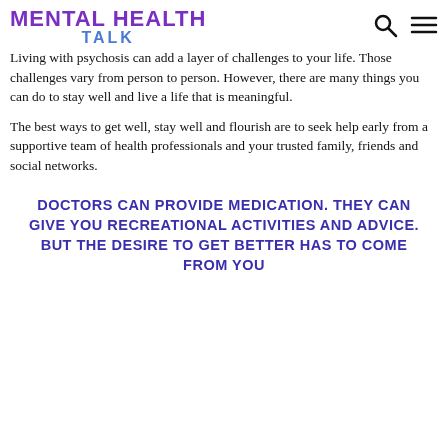MENTAL HEALTH TALK
Living with psychosis can add a layer of challenges to your life. Those challenges vary from person to person. However, there are many things you can do to stay well and live a life that is meaningful.
The best ways to get well, stay well and flourish are to seek help early from a supportive team of health professionals and your trusted family, friends and social networks.
DOCTORS CAN PROVIDE MEDICATION. THEY CAN GIVE YOU RECREATIONAL ACTIVITIES AND ADVICE. BUT THE DESIRE TO GET BETTER HAS TO COME FROM YOU